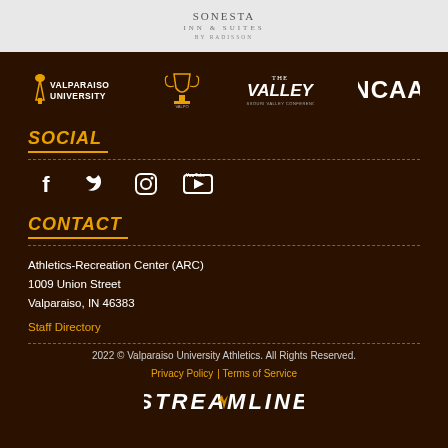[Figure (logo): Sonesta Inn & Suites by Radisson logo — partial, light gray background]
[Figure (logo): Valparaiso University logo (torch mark + text), The Valley conference logo, NCAA logo — white on dark brown background]
SOCIAL
[Figure (infographic): Social media icons: Facebook, Twitter, Instagram, YouTube — white icons on dark brown background]
CONTACT
Athletics-Recreation Center (ARC)
1009 Union Street
Valparaiso, IN 46383
Staff Directory
2022 © Valparaiso University Athletics. All Rights Reserved.
Privacy Policy | Terms of Service
[Figure (logo): Streamline logo — white stylized text on dark brown background]